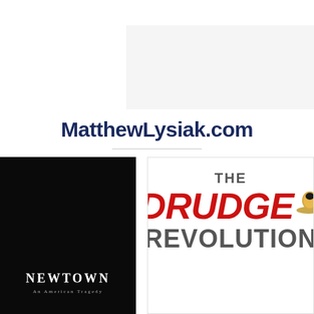[Figure (other): Light gray advertisement banner placeholder]
MatthewLysiak.com
[Figure (illustration): Book cover for 'Newtown: An American Tragedy' — black background with white text]
[Figure (illustration): Book cover for 'The Drudge Revolution' — white background with red and gray bold text and a hat graphic]